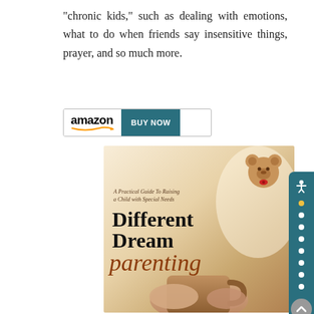"chronic kids," such as dealing with emotions, what to do when friends say insensitive things, prayer, and so much more.
[Figure (screenshot): Amazon Buy Now button with amazon logo on white background and teal BUY NOW button]
[Figure (photo): Book cover for 'Different Dream Parenting: A Practical Guide To Raising a Child with Special Needs' showing title text over a warm-toned photo of hands holding a mug with a teddy bear in the corner]